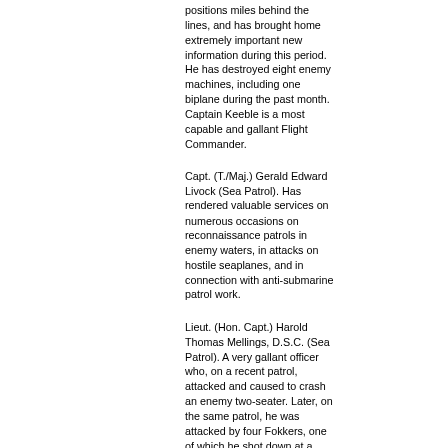positions miles behind the lines, and has brought home extremely important new information during this period. He has destroyed eight enemy machines, including one biplane during the past month. Captain Keeble is a most capable and gallant Flight Commander.
Capt. (T./Maj.) Gerald Edward Livock (Sea Patrol). Has rendered valuable services on numerous occasions on reconnaissance patrols in enemy waters, in attacks on hostile seaplanes, and in connection with anti-submarine patrol work.
Lieut. (Hon. Capt.) Harold Thomas Mellings, D.S.C. (Sea Patrol). A very gallant officer who, on a recent patrol, attacked and caused to crash an enemy two-seater. Later, on the same patrol, he was attacked by four Fokkers, one of which he shot down at a